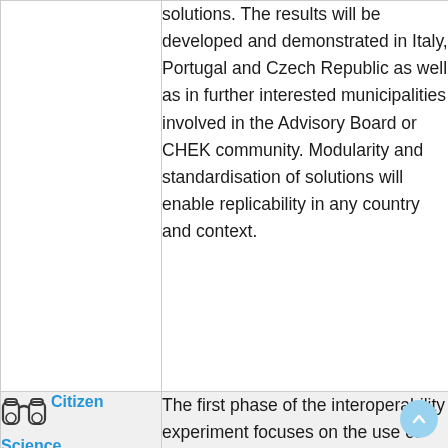solutions. The results will be developed and demonstrated in Italy, Portugal and Czech Republic as well as in further interested municipalities involved in the Advisory Board or CHEK community. Modularity and standardisation of solutions will enable replicability in any country and context.
[Figure (illustration): Binoculars icon representing Citizen Science]
Citizen Science Interoperability Experiment
The first phase of the interoperability experiment focuses on the use of SOS as a standard service to distribute data coming from